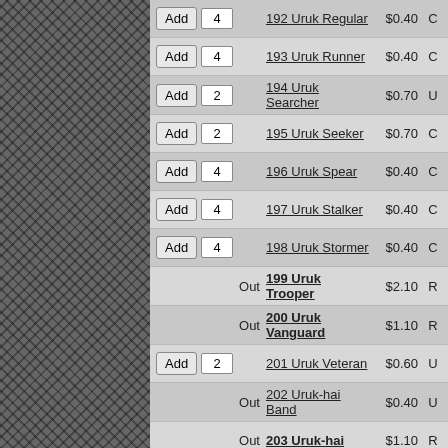| Action | Qty | Card Name | Price | Rarity |
| --- | --- | --- | --- | --- |
| Add | 4 | 192 Uruk Regular | $0.40 | C |
| Add | 4 | 193 Uruk Runner | $0.40 | C |
| Add | 2 | 194 Uruk Searcher | $0.70 | U |
| Add | 2 | 195 Uruk Seeker | $0.70 | C |
| Add | 4 | 196 Uruk Spear | $0.40 | C |
| Add | 4 | 197 Uruk Stalker | $0.40 | C |
| Add | 4 | 198 Uruk Stormer | $0.40 | C |
| Out |  | 199 Uruk Trooper | $2.10 | R |
| Out |  | 200 Uruk Vanguard | $1.10 | R |
| Add | 2 | 201 Uruk Veteran | $0.60 | U |
| Out |  | 202 Uruk-hai Band | $0.40 | U |
| Out |  | 203 Uruk-hai | $1.10 | R |